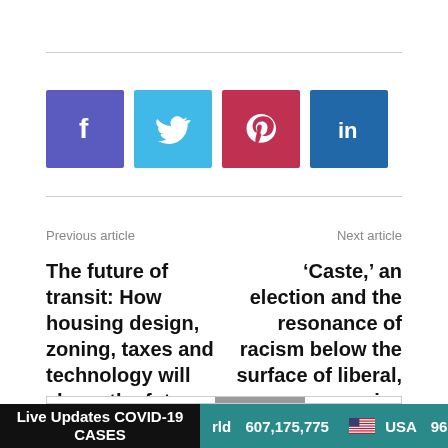[Figure (other): Social media share buttons: Facebook (purple), Twitter (cyan), Pinterest (red), LinkedIn (blue)]
Previous article
Next article
The future of transit: How housing design, zoning, taxes and technology will shape the future of mobility in Austin and other cities
‘Caste,’ an election and the resonance of racism below the surface of liberal, progressive America
[Figure (screenshot): Partial box with grey bar visible at bottom — appears to be a partially loaded widget or ad]
Live Updates COVID-19 CASES   World 607,175,775   USA 96,149,016